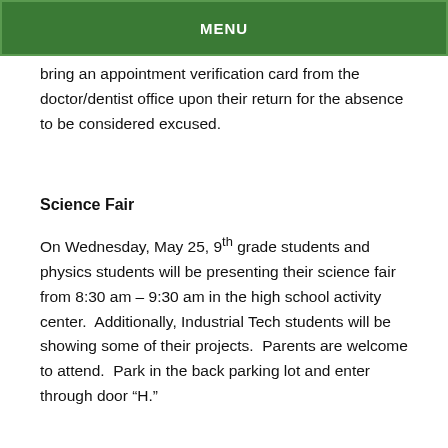MENU
are absent for doctor or dentist appointments on Friday, May 20, must bring an appointment verification card from the doctor/dentist office upon their return for the absence to be considered excused.
Science Fair
On Wednesday, May 25, 9th grade students and physics students will be presenting their science fair from 8:30 am – 9:30 am in the high school activity center.  Additionally, Industrial Tech students will be showing some of their projects.  Parents are welcome to attend.  Park in the back parking lot and enter through door “H.”